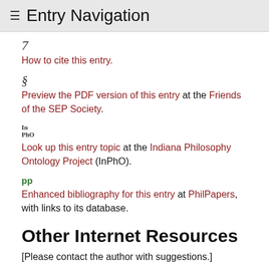≡ Entry Navigation
7 How to cite this entry.
§ Preview the PDF version of this entry at the Friends of the SEP Society.
InPhO Look up this entry topic at the Indiana Philosophy Ontology Project (InPhO).
PP Enhanced bibliography for this entry at PhilPapers, with links to its database.
Other Internet Resources
[Please contact the author with suggestions.]
Related Entries
property and ownership | rights | rights: human | rights: of